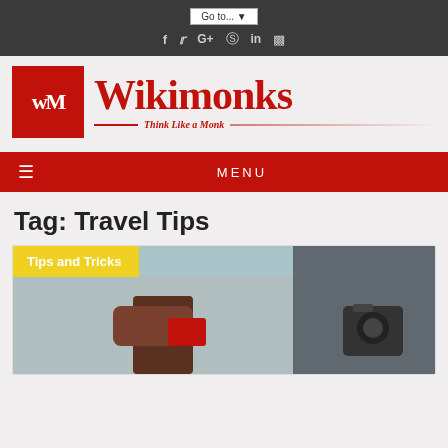Go to... [dropdown]
Social icons: f, Twitter, G+, Pinterest, in, RSS
[Figure (logo): Wikimonks logo with red square WM icon and red text 'Wikimonks — Think Like a Monk']
≡ MENU
Tag: Travel Tips
[Figure (photo): Photo showing a hand holding a red card near a camera or device, with yellow 'Tips and Tricks' badge overlay]